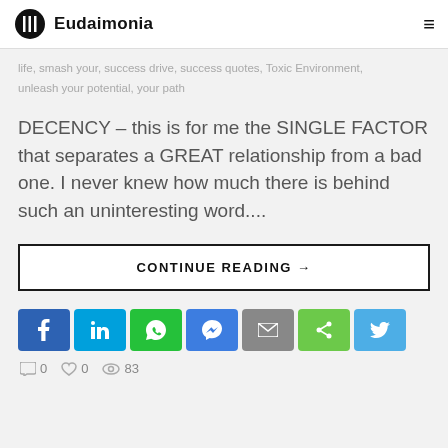Eudaimonia
life, smash your, success drive, success quotes, Toxic Environment, unleash your potential, your path
DECENCY – this is for me the SINGLE FACTOR that separates a GREAT relationship from a bad one. I never knew how much there is behind such an uninteresting word....
CONTINUE READING →
[Figure (other): Social sharing buttons row: Facebook, LinkedIn, WhatsApp, Messenger, Email, Share, Twitter]
0  0  83